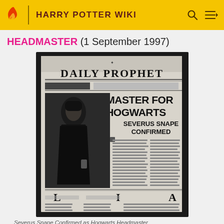HARRY POTTER WIKI
HEADMASTER (1 September 1997)
[Figure (photo): A black and white image of the Daily Prophet newspaper front page with the headline 'NEW HEADMASTER FOR HOGWARTS SEVERUS SNAPE CONFIRMED', featuring a photo of Severus Snape in dark robes.]
Severus Snape Confirmed as Hogwarts Headmaster